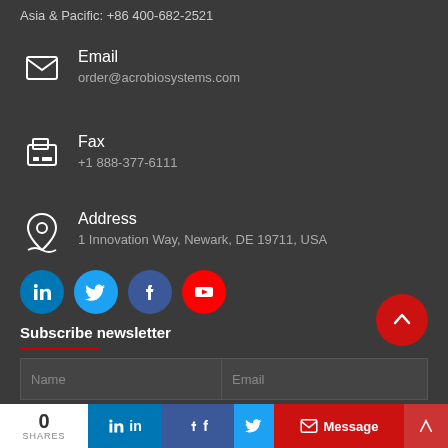Asia & Pacific: +86 400-682-2521
Email
order@acrobiosystems.com
Fax
+1 888-377-6111
Address
1 Innovation Way, Newark, DE 19711, USA
[Figure (illustration): Social media icons row: LinkedIn (blue circle), Twitter (light blue circle), Facebook (dark blue circle), YouTube (red circle)]
Subscribe newsletter
Name
Email
Company
[Figure (illustration): Red circular scroll-to-top button with upward arrow]
0 SHARES | in | f | (twitter) | Message | (arrow)